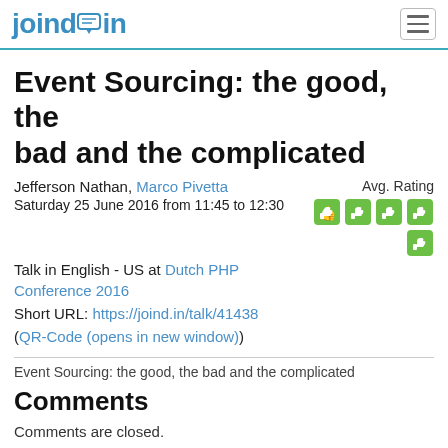joind.in
Event Sourcing: the good, the bad and the complicated
Jefferson Nathan, Marco Pivetta
Saturday 25 June 2016 from 11:45 to 12:30
Talk in English - US at Dutch PHP Conference 2016
Short URL: https://joind.in/talk/41438
(QR-Code (opens in new window))
Avg. Rating
Event Sourcing: the good, the bad and the complicated
Comments
Comments are closed.